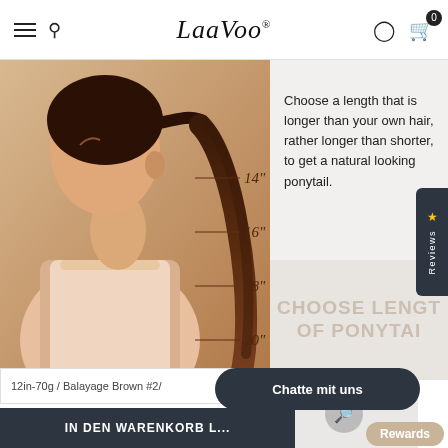LaaVoo (logo) — navigation header with hamburger menu, search, user and cart icons
[Figure (photo): Woman showing side profile with long straight brown ponytail extension, with length markers at 14", 16", 18", 20" indicated along the hair]
Choose a length that is longer than your own hair, rather longer than shorter, to get a natural looking ponytail.
CHOOSE LENGTH OF PONYTAIL (watermark text)
Color Reference (partial heading)
12in-70g / Balayage Brown #2/
Chatte mit uns
IN DEN WARENKORB L...
Rewards